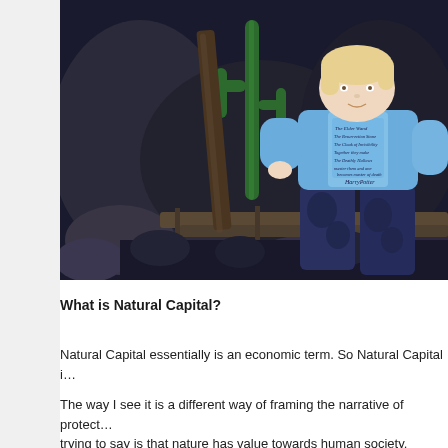[Figure (photo): A child wearing a blue hoodie and Harry Potter t-shirt with dark patterned pants, sitting on a wooden bench/platform surrounded by rocks and cacti in a dark environment.]
What is Natural Capital?
Natural Capital essentially is an economic term. So Natural Capital i…
The way I see it is a different way of framing the narrative of protect… trying to say is that nature has value towards human society.